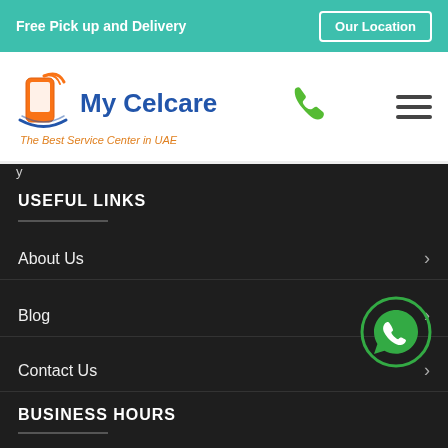Free Pick up and Delivery
Our Location
[Figure (logo): My Celcare logo with phone icon and tagline: The Best Service Center in UAE]
y
USEFUL LINKS
About Us
Blog
Contact Us
[Figure (logo): WhatsApp green circle icon]
BUSINESS HOURS